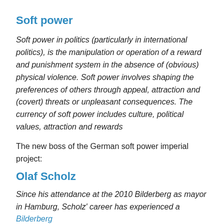Soft power
Soft power in politics (particularly in international politics), is the manipulation or operation of a reward and punishment system in the absence of (obvious) physical violence. Soft power involves shaping the preferences of others through appeal, attraction and (covert) threats or unpleasant consequences. The currency of soft power includes culture, political values, attraction and rewards
The new boss of the German soft power imperial project:
Olaf Scholz
Since his attendance at the 2010 Bilderberg as mayor in Hamburg, Scholz' career has experienced a Bilderberg